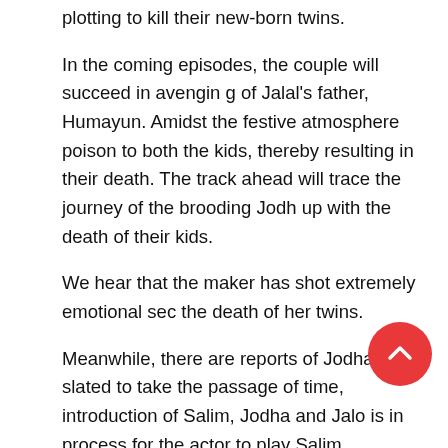plotting to kill their new-born twins.
In the coming episodes, the couple will succeed in avenging of Jalal's father, Humayun. Amidst the festive atmosphere poison to both the kids, thereby resulting in their death. The track ahead will trace the journey of the brooding Jodh up with the death of their kids.
We hear that the maker has shot extremely emotional sec the death of her twins.
Meanwhile, there are reports of Jodha Akbar slated to take the passage of time, introduction of Salim, Jodha and Jalo is in process for the actor to play Salim.
We tried calling Paridhi, but could not get through t
Catch all the twists and drama in Zee TV's Jodha Akbar.